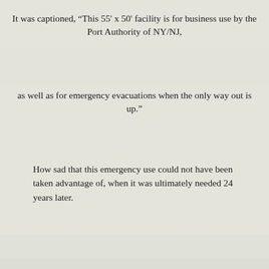It was captioned, “This 55' x 50' facility is for business use by the Port Authority of NY/NJ,
as well as for emergency evacuations when the only way out is up.”
How sad that this emergency use could not have been taken advantage of, when it was ultimately needed 24 years later.
[Figure (photo): Faded background photograph showing an aerial/military vehicle or aircraft in an overgrown outdoor setting, with a broken image icon visible in the lower portion of the page.]